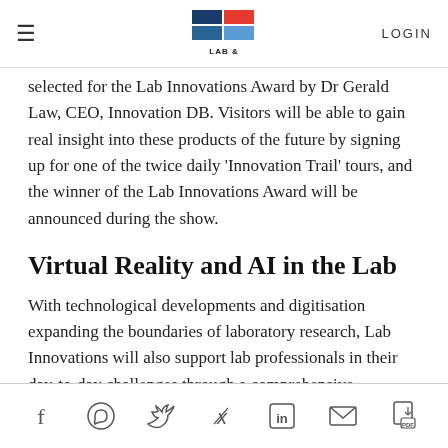LAB & WORLDWIDE | LOGIN
selected for the Lab Innovations Award by Dr Gerald Law, CEO, Innovation DB. Visitors will be able to gain real insight into these products of the future by signing up for one of the twice daily 'Innovation Trail' tours, and the winner of the Lab Innovations Award will be announced during the show.
Virtual Reality and AI in the Lab
With technological developments and digitisation expanding the boundaries of laboratory research, Lab Innovations will also support lab professionals in their day-to-day challenges through a comprehensive programme of presentations. These free-to-attend, CPD-accredited sessions will cover issues such as sustainability, modern work practices, and the use of virtual and augmented reality and artificial intelligence.
In the Insights and Innovations Theatre sponsored by Perkin
Social share icons: Facebook, WhatsApp, Twitter, Xing, LinkedIn, Email, PDF